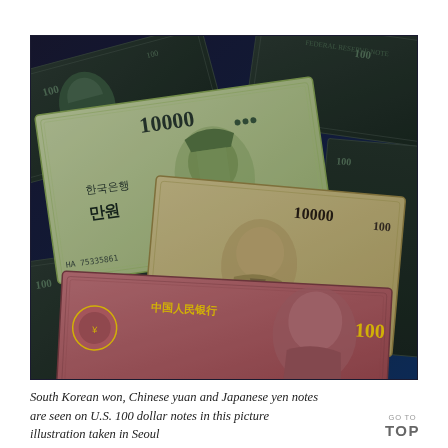[Figure (photo): A photograph showing South Korean won (10000 won note), Chinese yuan (100 yuan note), and Japanese yen (10000 yen note) currency notes fanned out on top of U.S. 100 dollar bills, taken in Seoul. The image is dark-toned with the banknotes clearly visible including portraits and text on each note.]
South Korean won, Chinese yuan and Japanese yen notes are seen on U.S. 100 dollar notes in this picture illustration taken in Seoul